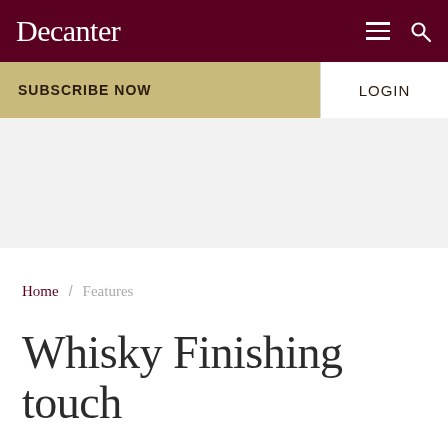Decanter
SUBSCRIBE NOW
LOGIN
[Figure (other): Gray advertisement/banner placeholder area]
Home / Features
Whisky Finishing touch